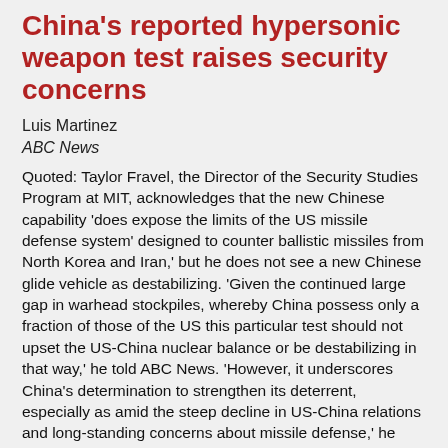China's reported hypersonic weapon test raises security concerns
Luis Martinez
ABC News
Quoted: Taylor Fravel, the Director of the Security Studies Program at MIT, acknowledges that the new Chinese capability 'does expose the limits of the US missile defense system' designed to counter ballistic missiles from North Korea and Iran,' but he does not see a new Chinese glide vehicle as destabilizing. 'Given the continued large gap in warhead stockpiles, whereby China possess only a fraction of those of the US this particular test should not upset the US-China nuclear balance or be destabilizing in that way,' he told ABC News. 'However, it underscores China's determination to strengthen its deterrent, especially as amid the steep decline in US-China relations and long-standing concerns about missile defense,' he